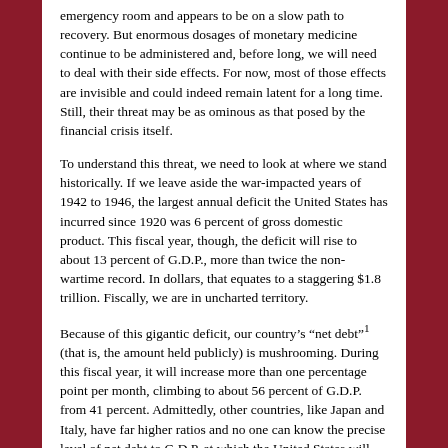emergency room and appears to be on a slow path to recovery. But enormous dosages of monetary medicine continue to be administered and, before long, we will need to deal with their side effects. For now, most of those effects are invisible and could indeed remain latent for a long time. Still, their threat may be as ominous as that posed by the financial crisis itself.
To understand this threat, we need to look at where we stand historically. If we leave aside the war-impacted years of 1942 to 1946, the largest annual deficit the United States has incurred since 1920 was 6 percent of gross domestic product. This fiscal year, though, the deficit will rise to about 13 percent of G.D.P., more than twice the non-wartime record. In dollars, that equates to a staggering $1.8 trillion. Fiscally, we are in uncharted territory.
Because of this gigantic deficit, our country's “net debt”¹ (that is, the amount held publicly) is mushrooming. During this fiscal year, it will increase more than one percentage point per month, climbing to about 56 percent of G.D.P. from 41 percent. Admittedly, other countries, like Japan and Italy, have far higher ratios and no one can know the precise level of net debt to G.D.P. at which the United States will lose its reputation for financial integrity. But a few more years like this